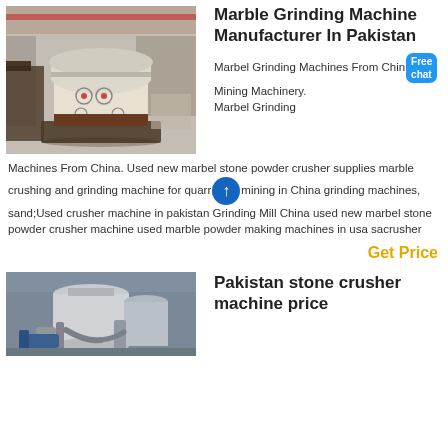[Figure (photo): Industrial marble grinding machine (cone crusher) in a factory warehouse setting, cream/beige colored]
Marble Grinding Machine Manufacturer In Pakistan
Marbel Grinding Machines From China Mining Machinery. Marbel Grinding Machines From China. Used new marbel stone powder crusher supplies marble crushing and grinding machine for quarry mining in China grinding machines, sand;Used crusher machine in pakistan Grinding Mill China used new marbel stone powder crusher machine used marble powder making machines in usa sacrusher
Get Price
[Figure (photo): Industrial stone crusher machine with large cylindrical structures and pipes, photographed at a facility]
Pakistan stone crusher machine price